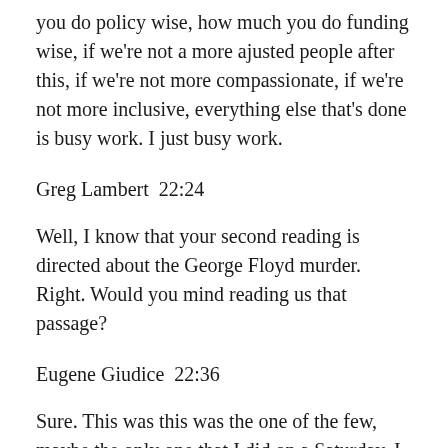you do policy wise, how much you do funding wise, if we're not a more ajusted people after this, if we're not more compassionate, if we're not more inclusive, everything else that's done is busy work. I just busy work.
Greg Lambert  22:24
Well, I know that your second reading is directed about the George Floyd murder. Right. Would you mind reading us that passage?
Eugene Giudice  22:36
Sure. This was this was the one of the few, maybe the only one that I did on a Saturday, I made a point of taking Saturday and Sunday off from writing. But this one was I wrote on a Saturday. It's dated May 31